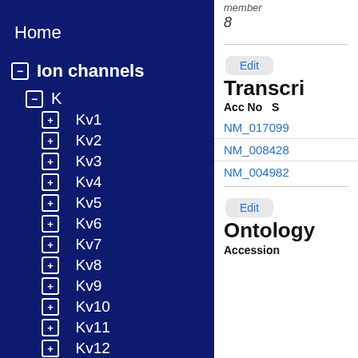Home
⊟ Ion channels
⊟ K
⊞ Kv1
⊞ Kv2
⊞ Kv3
⊞ Kv4
⊞ Kv5
⊞ Kv6
⊞ Kv7
⊞ Kv8
⊞ Kv9
⊞ Kv10
⊞ Kv11
⊞ Kv12
⊟ Kir
member
8
Edit
Transcri
| Acc No | S |
| --- | --- |
| NM_017099 |  |
| NM_008428 |  |
| NM_004982 |  |
Edit
Ontology
Accession